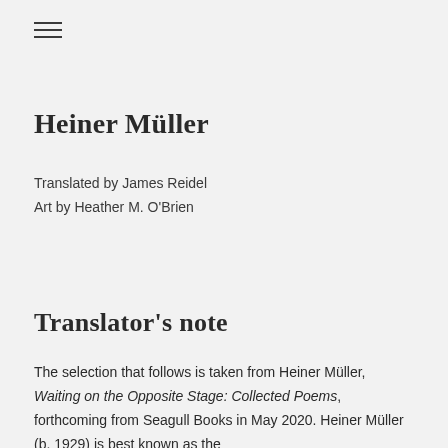[Figure (other): Hamburger menu icon with three horizontal lines]
Heiner Müller
Translated by James Reidel
Art by Heather M. O'Brien
Translator's note
The selection that follows is taken from Heiner Müller, Waiting on the Opposite Stage: Collected Poems, forthcoming from Seagull Books in May 2020. Heiner Müller (b. 1929) is best known as the